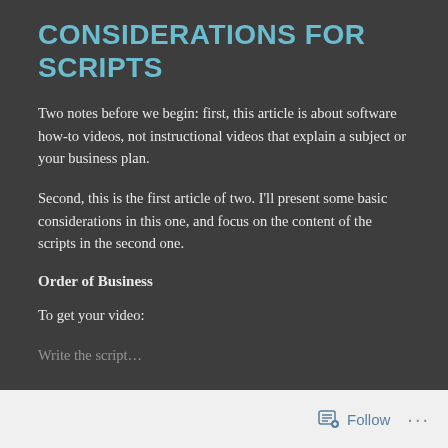CONSIDERATIONS FOR SCRIPTS
Two notes before we begin: first, this article is about software how-to videos, not instructional videos that explain a subject or your business plan.
Second, this is the first article of two. I’ll present some basic considerations in this one, and focus on the content of the scripts in the second one.
Order of Business
To get your video:
Follow ...